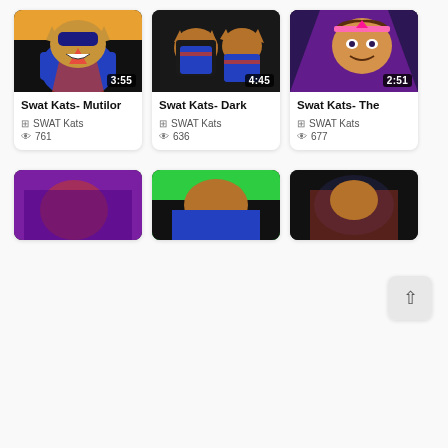[Figure (screenshot): Video thumbnail: Swat Kats- Mutilor, animated cat superhero on orange background, duration 3:55]
Swat Kats- Mutilor
SWAT Kats
761
[Figure (screenshot): Video thumbnail: Swat Kats- Dark, two animated cat characters on dark background, duration 4:45]
Swat Kats- Dark
SWAT Kats
636
[Figure (screenshot): Video thumbnail: Swat Kats- The, animated female villain on dark background, duration 2:51]
Swat Kats- The
SWAT Kats
677
[Figure (screenshot): Video thumbnail row 2: animated character on purple background]
[Figure (screenshot): Video thumbnail row 2: animated cat on green background]
[Figure (screenshot): Video thumbnail row 2: animated characters on dark background]